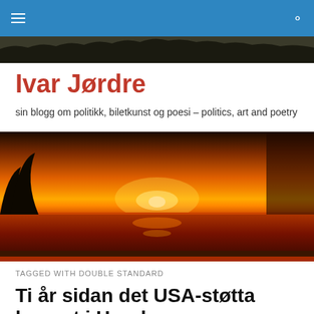Ivar Jørdre
sin blogg om politikk, biletkunst og poesi – politics, art and poetry
[Figure (photo): Sunset landscape with orange sky, sun on horizon, silhouetted trees and water reflection]
TAGGED WITH DOUBLE STANDARD
Ti år sidan det USA-støtta kuppet i Honduras